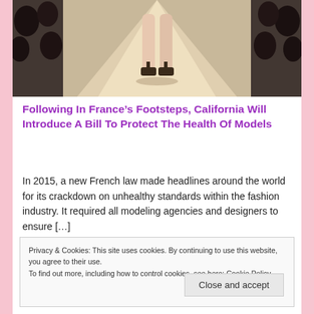[Figure (photo): Fashion runway photo showing a model's legs walking on a catwalk in high heels, viewed from behind, with audience seated on both sides]
Following In France’s Footsteps, California Will Introduce A Bill To Protect The Health Of Models
In 2015, a new French law made headlines around the world for its crackdown on unhealthy standards within the fashion industry. It required all modeling agencies and designers to ensure […]
Privacy & Cookies: This site uses cookies. By continuing to use this website, you agree to their use.
To find out more, including how to control cookies, see here: Cookie Policy
Close and accept